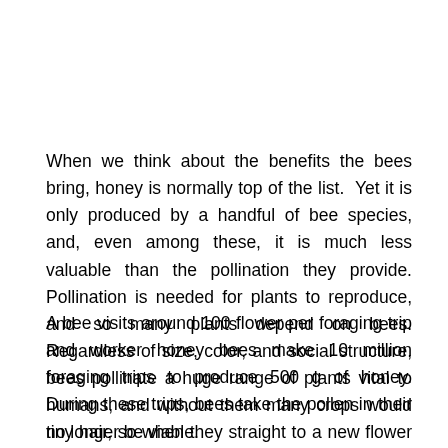When we think about the benefits the bees bring, honey is normally top of the list.  Yet it is only produced by a handful of bee species, and, even among these, it is much less valuable than the pollination they provide. Pollination is needed for plants to reproduce, and so many plants depend on bees. Regardless of size, color, and social structure, bees pollinate a huge range of plants vital to humans, and without them many crops would no longer be viable.
A bee visits around 100 flower per foraging trip and worker honey bees make 10 million foraging trips to produce 500 g of honey. During these trips, bees take the pollen in their tiny hair, so when they straight to a new flower from the same species, they left the adequate quantity to reproduce. Around 75% of